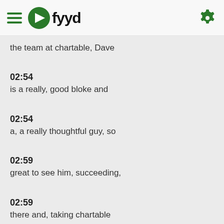fyyd
the team at chartable, Dave
02:54
is a really, good bloke and
02:54
a, a really thoughtful guy, so
02:59
great to see him, succeeding,
02:59
there and, taking chartable
03:03
into Spotify, which is good.
03:05
and, great news for pod
03:05
sites, Sean Creeley and
03:09